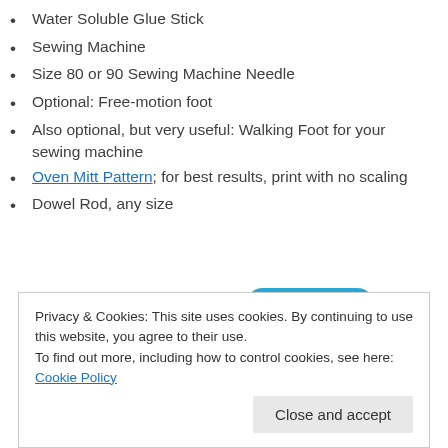Water Soluble Glue Stick
Sewing Machine
Size 80 or 90 Sewing Machine Needle
Optional: Free-motion foot
Also optional, but very useful: Walking Foot for your sewing machine
Oven Mitt Pattern; for best results, print with no scaling
Dowel Rod, any size
[Figure (screenshot): Screenshot of a video app interface showing phones with 'Up Next' content and blue graphic elements including a play button icon]
Privacy & Cookies: This site uses cookies. By continuing to use this website, you agree to their use.
To find out more, including how to control cookies, see here: Cookie Policy
Close and accept